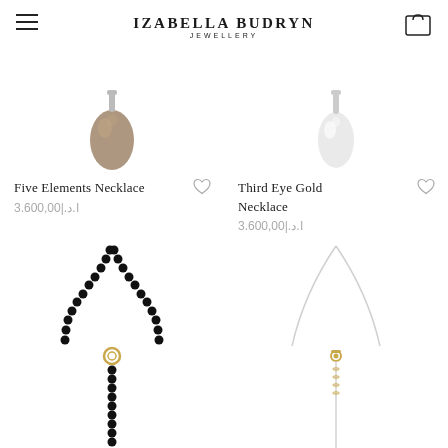IZABELLA BUDRYN JEWELLERY
[Figure (photo): Partial product image of Five Elements Necklace pendant (brown stone) at top of page]
Five Elements Necklace
3.600,00|.ا.د
[Figure (photo): Partial product image of Third Eye Gold Necklace pendant (white/clear stone) at top of page]
Third Eye Gold Necklace
3.600,00|.ا.د
[Figure (photo): Black beaded lariat necklace with gold connector piece, hanging in Y shape]
[Figure (photo): Silver/gold chain lariat necklace with gold connector piece, hanging in Y shape]